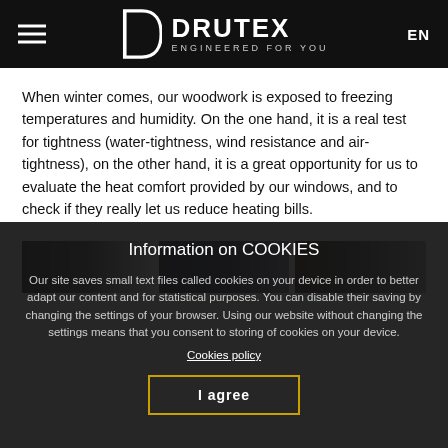DRUTEX — ENGINEERED FOR YOU | EN
When winter comes, our woodwork is exposed to freezing temperatures and humidity. On the one hand, it is a real test for tightness (water-tightness, wind resistance and air-tightness), on the other hand, it is a great opportunity for us to evaluate the heat comfort provided by our windows, and to check if they really let us reduce heating bills.
[Figure (photo): Three partially visible window frame/profile images in dark brown, dark blue-grey, and dark brown-grey tones]
Information on COOKIES
Our site saves small text files called cookies on your device in order to better adapt our content and for statistical purposes. You can disable their saving by changing the settings of your browser. Using our website without changing the settings means that you consent to storing of cookies on your device.
Cookies policy
I agree